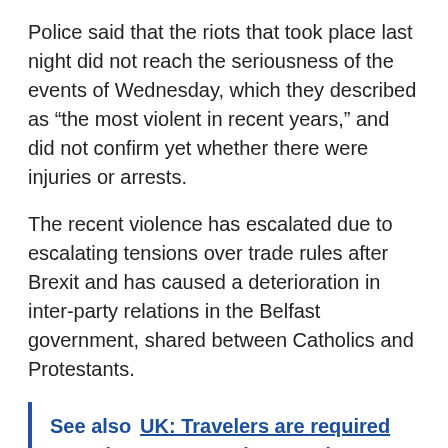Police said that the riots that took place last night did not reach the seriousness of the events of Wednesday, which they described as “the most violent in recent years,” and did not confirm yet whether there were injuries or arrests.
The recent violence has escalated due to escalating tensions over trade rules after Brexit and has caused a deterioration in inter-party relations in the Belfast government, shared between Catholics and Protestants.
See also  UK: Travelers are required to undergo PCR testing two days after entering the country and use of masks is extended
Authorities accused illegal paramilitary groups of inciting youths to foment chaos.